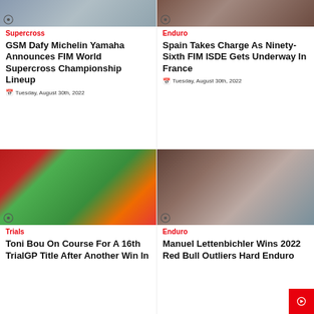[Figure (photo): Supercross/motocross related photo top left]
Supercross
GSM Dafy Michelin Yamaha Announces FIM World Supercross Championship Lineup
Tuesday, August 30th, 2022
[Figure (photo): Enduro off-road terrain photo top right]
Enduro
Spain Takes Charge As Ninety-Sixth FIM ISDE Gets Underway In France
Tuesday, August 30th, 2022
[Figure (photo): Trials motorbike competition with crowd, Toni Bou]
Trials
Toni Bou On Course For A 16th TrialGP Title After Another Win In
[Figure (photo): Enduro rider on KTM bike on rocky terrain]
Enduro
Manuel Lettenbichler Wins 2022 Red Bull Outliers Hard Enduro